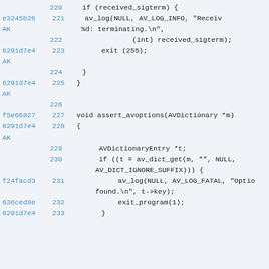Code listing lines 220-233, showing C source code with git hashes and line numbers
220    if (received_sigterm) {
e3245b26 221    av_log(NULL, AV_LOG_INFO, "Receiv
AK         %d: terminating.\n",
222                (int) received_sigterm);
6291d7e4 223    exit (255);
AK
224    }
6291d7e4 225  }
AK
226
f5e66827 227  void assert_avoptions(AVDictionary *m)
6291d7e4 228  {
AK
229      AVDictionaryEntry *t;
230      if ((t = av_dict_get(m, "", NULL,
AV_DICT_IGNORE_SUFFIX))) {
f24facd3 231      av_log(NULL, AV_LOG_FATAL, "Optio
found.\n", t->key);
636ced8e 232      exit_program(1);
6291d7e4 233      }